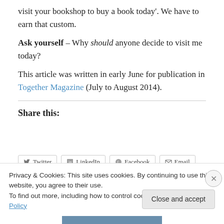visit your bookshop to buy a book today'. We have to earn that custom.
Ask yourself – Why should anyone decide to visit me today?
This article was written in early June for publication in Together Magazine (July to August 2014).
Share this:
[Figure (screenshot): Social sharing buttons: Twitter, LinkedIn, Facebook, Email]
Privacy & Cookies: This site uses cookies. By continuing to use this website, you agree to their use. To find out more, including how to control cookies, see here: Cookie Policy
Close and accept